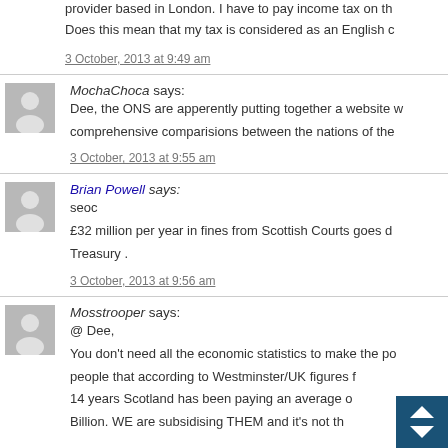provider based in London. I have to pay income tax on th... Does this mean that my tax is considered as an English c...
3 October, 2013 at 9:49 am
MochaChoca says:
Dee, the ONS are apperently putting together a website w... comprehensive comparisions between the nations of the...
3 October, 2013 at 9:55 am
Brian Powell says:
seoc
£32  million per year in fines from  Scottish Courts goes d... Treasury .
3 October, 2013 at 9:56 am
Mosstrooper says:
@ Dee,
You don't need all the economic statistics to make the po... people that according to Westminster/UK figures f... 14 years Scotland has been paying an average o... Billion. WE are subsidising THEM and it's not th...